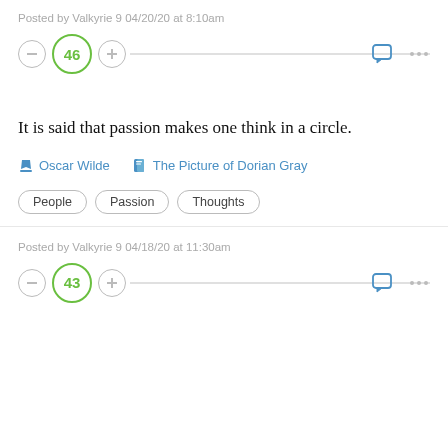Posted by Valkyrie 9 04/20/20 at 8:10am
[Figure (infographic): Vote row with minus button, score circle showing 46, plus button, divider line, chat icon, and ellipsis menu icon]
It is said that passion makes one think in a circle.
Oscar Wilde   The Picture of Dorian Gray
People   Passion   Thoughts
Posted by Valkyrie 9 04/18/20 at 11:30am
[Figure (infographic): Vote row with minus button, score circle showing 43, plus button, divider line, chat icon, and ellipsis menu icon]